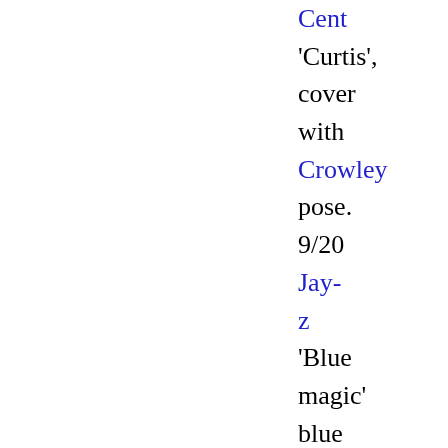Cent 'Curtis', cover with Crowley pose. 9/20 Jay-z 'Blue magic' blue star Sirius 11/6 (date